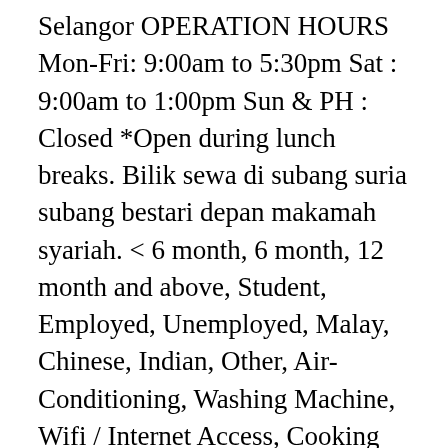Selangor OPERATION HOURS Mon-Fri: 9:00am to 5:30pm Sat : 9:00am to 1:00pm Sun & PH : Closed *Open during lunch breaks. Bilik sewa di subang suria subang bestari depan makamah syariah. < 6 month, 6 month, 12 month and above, Student, Employed, Unemployed, Malay, Chinese, Indian, Other, Air-Conditioning, Washing Machine, Wifi / Internet Access, Cooking Allowed, Share Bathroom, Near Bus stop, Swimming Pools, Surau, Prefer muslim friendly, Prefer move-in immediately, Malaysian, Student, Employed, Malay, Single Female, Air-Conditioning, Washing Machine, Wifi / Internet Access, Cooking Allowed, Share Bathroom, Shower, 24 hours security, Swimming Pools, Gymnasium